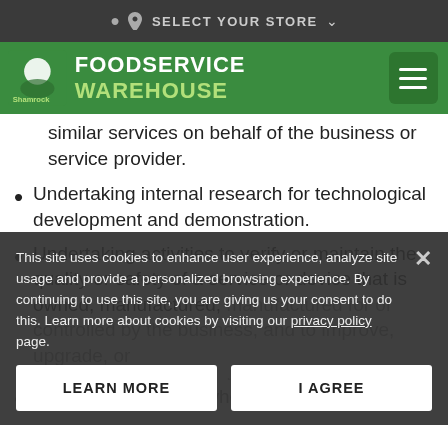SELECT YOUR STORE
FOODSERVICE WAREHOUSE
similar services on behalf of the business or service provider.
Undertaking internal research for technological development and demonstration.
Undertaking activities to verify or maintain the quality or safety of a service or device that is owned, manufactured, manufactured for or controlled by the business, and to improve, upgrade, or owned, manufactured, manufactured for or co...
This site uses cookies to enhance user experience, analyze site usage and provide a personalized browsing experience. By continuing to use this site, you are giving us your consent to do this. Learn more about cookies by visiting our privacy policy page.
As described to you when collecting your